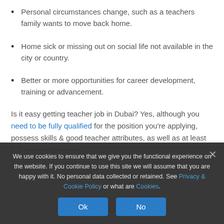Personal circumstances change, such as a teachers family wants to move back home.
Home sick or missing out on social life not available in the city or country.
Better or more opportunities for career development, training or advancement.
Is it easy getting teacher job in Dubai? Yes, although you need to be fully qualified for the position you're applying, possess skills & good teacher attributes, as well as at least 1-2 years experience
We use cookies to ensure that we give you the functional experience on the website. If you continue to use this site we will assume that you are happy with it. No personal data collected or retained. See Privacy & Cookie Policy or what are Cookies.